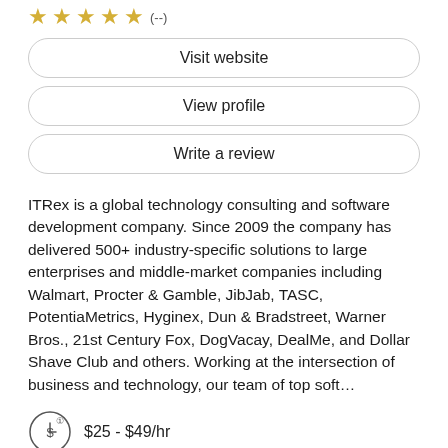[Figure (infographic): Five gold stars with a review count in parentheses]
Visit website
View profile
Write a review
ITRex is a global technology consulting and software development company. Since 2009 the company has delivered 500+ industry-specific solutions to large enterprises and middle-market companies including Walmart, Procter & Gamble, JibJab, TASC, PotentiaMetrics, Hyginex, Dun & Bradstreet, Warner Bros., 21st Century Fox, DogVacay, DealMe, and Dollar Shave Club and others. Working at the intersection of business and technology, our team of top soft…
$25 - $49/hr
250 - 999